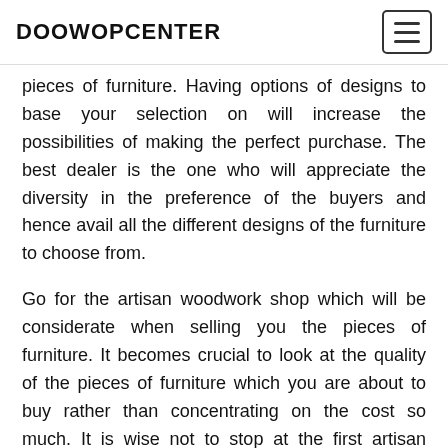DOOWOPCENTER
pieces of furniture. Having options of designs to base your selection on will increase the possibilities of making the perfect purchase. The best dealer is the one who will appreciate the diversity in the preference of the buyers and hence avail all the different designs of the furniture to choose from.
Go for the artisan woodwork shop which will be considerate when selling you the pieces of furniture. It becomes crucial to look at the quality of the pieces of furniture which you are about to buy rather than concentrating on the cost so much. It is wise not to stop at the first artisan woodwork store you arrive at as there are others which are others which are available. Such an analysis will help you spot the shop